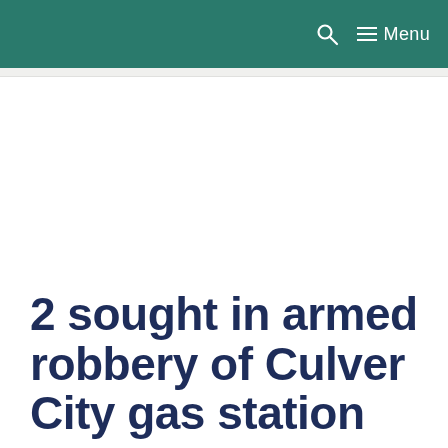Menu
2 sought in armed robbery of Culver City gas station